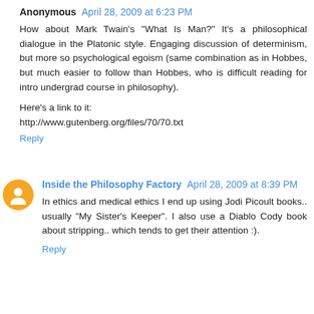Anonymous April 28, 2009 at 6:23 PM
How about Mark Twain's "What Is Man?" It's a philosophical dialogue in the Platonic style. Engaging discussion of determinism, but more so psychological egoism (same combination as in Hobbes, but much easier to follow than Hobbes, who is difficult reading for intro undergrad course in philosophy).
Here's a link to it:
http://www.gutenberg.org/files/70/70.txt
Reply
Inside the Philosophy Factory April 28, 2009 at 8:39 PM
In ethics and medical ethics I end up using Jodi Picoult books.. usually "My Sister's Keeper". I also use a Diablo Cody book about stripping.. which tends to get their attention :).
Reply